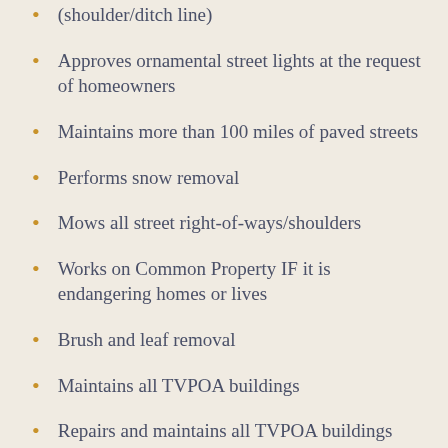(shoulder/ditch line)
Approves ornamental street lights at the request of homeowners
Maintains more than 100 miles of paved streets
Performs snow removal
Mows all street right-of-ways/shoulders
Works on Common Property IF it is endangering homes or lives
Brush and leaf removal
Maintains all TVPOA buildings
Repairs and maintains all TVPOA buildings